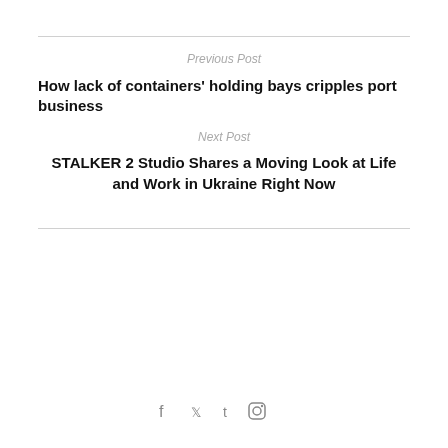Previous Post
How lack of containers' holding bays cripples port business
Next Post
STALKER 2 Studio Shares a Moving Look at Life and Work in Ukraine Right Now
[Figure (illustration): Avatar widget showing a 3D cartoon male figure avatar in a dark circular frame, with a news notification card below reading 'Agusto & Co forecasts 16.5% banking sector loan growth' with timestamp '19 hours ago', a close button marked X, and social media icons (Facebook, Twitter, Tumblr, Instagram) at the bottom]
Agusto & Co forecasts 16.5% banking sector loan growth
19 hours ago